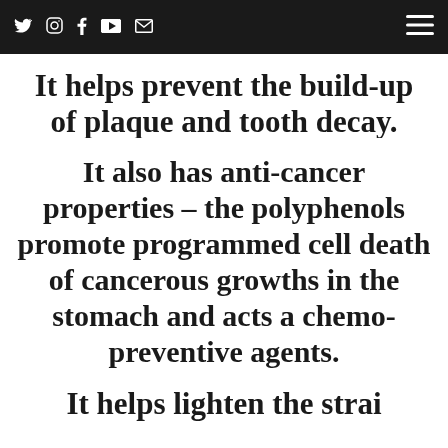Social media icons (Twitter, Instagram, Facebook, YouTube, Email) and hamburger menu
It helps prevent the build-up of plaque and tooth decay.
It also has anti-cancer properties – the polyphenols promote programmed cell death of cancerous growths in the stomach and acts a chemo-preventive agents.
It helps lighten the strai...